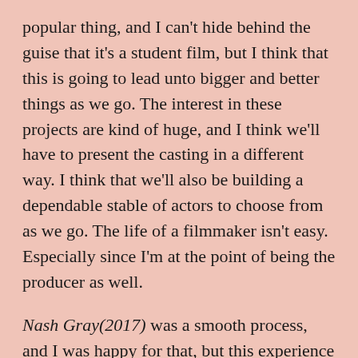popular thing, and I can't hide behind the guise that it's a student film, but I think that this is going to lead unto bigger and better things as we go. The interest in these projects are kind of huge, and I think we'll have to present the casting in a different way. I think that we'll also be building a dependable stable of actors to choose from as we go. The life of a filmmaker isn't easy. Especially since I'm at the point of being the producer as well.
Nash Gray(2017) was a smooth process, and I was happy for that, but this experience isn't going to keep me from obtaining my goals. I'm just sorry that the kids couldn't get a real experience for the casting call.
I think that we'll be filming The Dialogue aka The Reunion within the next few weeks. We're also getting ready to move into pre-production on a medieval PSA with in the